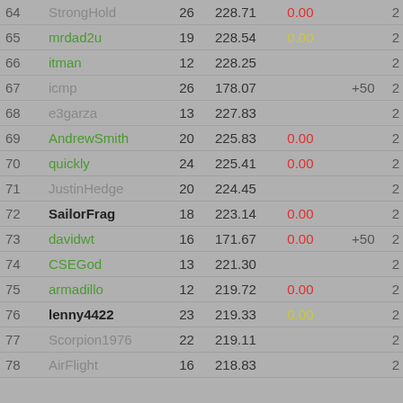| # | Name | Games | Score | Penalty | Bonus | Col7 |
| --- | --- | --- | --- | --- | --- | --- |
| 64 | StrongHold | 26 | 228.71 | 0.00 |  | 2 |
| 65 | mrdad2u | 19 | 228.54 | 0.00 |  | 2 |
| 66 | itman | 12 | 228.25 |  |  | 2 |
| 67 | icmp | 26 | 178.07 |  | +50 | 2 |
| 68 | e3garza | 13 | 227.83 |  |  | 2 |
| 69 | AndrewSmith | 20 | 225.83 | 0.00 |  | 2 |
| 70 | quickly | 24 | 225.41 | 0.00 |  | 2 |
| 71 | JustinHedge | 20 | 224.45 |  |  | 2 |
| 72 | SailorFrag | 18 | 223.14 | 0.00 |  | 2 |
| 73 | davidwt | 16 | 171.67 | 0.00 | +50 | 2 |
| 74 | CSEGod | 13 | 221.30 |  |  | 2 |
| 75 | armadillo | 12 | 219.72 | 0.00 |  | 2 |
| 76 | lenny4422 | 23 | 219.33 | 0.00 |  | 2 |
| 77 | Scorpion1976 | 22 | 219.11 |  |  | 2 |
| 78 | AirFlight | 16 | 218.83 |  |  | 2 |